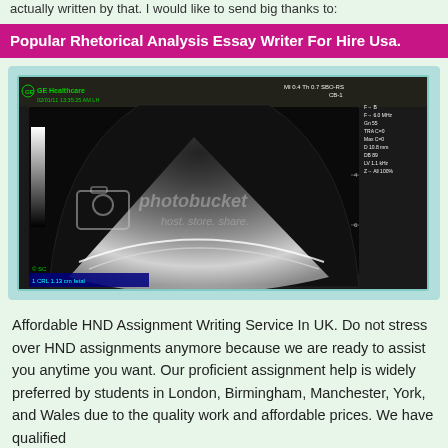actually written by that. I would like to send big thanks to:
Popular Rhetorical Analysis Essay Writer For Hire Usa.
[Figure (photo): Ultrasound medical image from GE Healthcare with photobucket watermark overlay. The scan shows a sector/fan-shaped ultrasound image with measurement data on the right side. Text at bottom reads: 1 CRL 1.13 cm fetal]
Affordable HND Assignment Writing Service In UK. Do not stress over HND assignments anymore because we are ready to assist you anytime you want. Our proficient assignment help is widely preferred by students in London, Birmingham, Manchester, York, and Wales due to the quality work and affordable prices. We have qualified